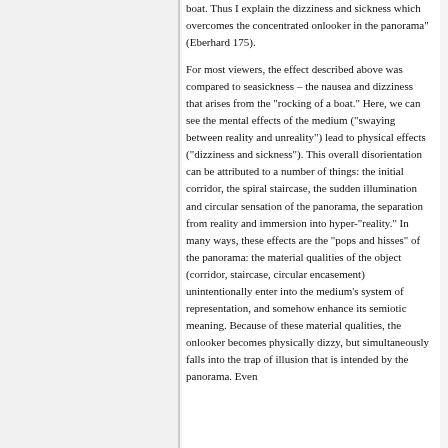boat. Thus I explain the dizziness and sickness which overcomes the concentrated onlooker in the panorama" (Eberhard 175).
For most viewers, the effect described above was compared to seasickness – the nausea and dizziness that arises from the "rocking of a boat." Here, we can see the mental effects of the medium ("swaying between reality and unreality") lead to physical effects ("dizziness and sickness"). This overall disorientation can be attributed to a number of things: the initial corridor, the spiral staircase, the sudden illumination and circular sensation of the panorama, the separation from reality and immersion into hyper-"reality." In many ways, these effects are the "pops and hisses" of the panorama: the material qualities of the object (corridor, staircase, circular encasement) unintentionally enter into the medium's system of representation, and somehow enhance its semiotic meaning. Because of these material qualities, the onlooker becomes physically dizzy, but simultaneously falls into the trap of illusion that is intended by the panorama. Even